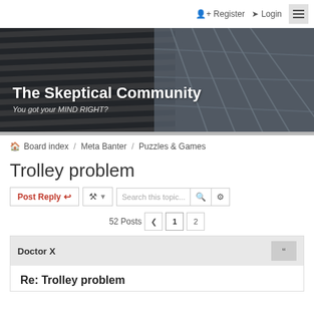Register  Login
[Figure (photo): The Skeptical Community forum banner with architectural building photo background showing steel and glass structure. White text reads 'The Skeptical Community' and 'You got your MIND RIGHT?']
Board index  /  Meta Banter  /  Puzzles & Games
Trolley problem
Post Reply  [tools]  Search this topic...  52 Posts  < 1 2
Doctor X
Re: Trolley problem